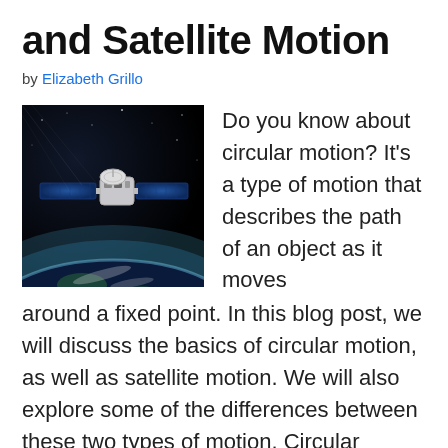and Satellite Motion
by Elizabeth Grillo
[Figure (photo): A satellite orbiting Earth against a dark starry background, with Earth's blue curved horizon visible below.]
Do you know about circular motion? It's a type of motion that describes the path of an object as it moves around a fixed point. In this blog post, we will discuss the basics of circular motion, as well as satellite motion. We will also explore some of the differences between these two types of motion. Circular